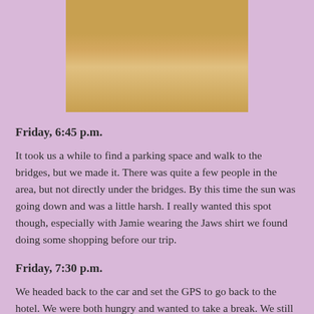[Figure (photo): Partial photo of a person at a beach near a pier, sitting in sand, cropped at top of page]
Friday, 6:45 p.m.
It took us a while to find a parking space and walk to the bridges, but we made it. There was quite a few people in the area, but not directly under the bridges. By this time the sun was going down and was a little harsh. I really wanted this spot though, especially with Jamie wearing the Jaws shirt we found doing some shopping before our trip.
Friday, 7:30 p.m.
We headed back to the car and set the GPS to go back to the hotel. We were both hungry and wanted to take a break. We still had plans to shoot two sets in the hotel room that night as well - one of which saw us make a stop at the grocery store on the way. We were also hungry and trying to